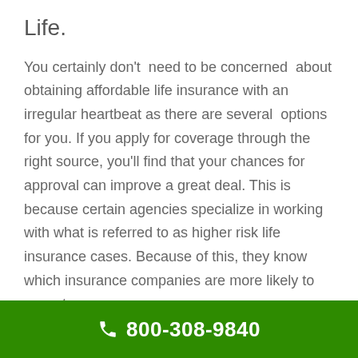Life.
You certainly don't need to be concerned about obtaining affordable life insurance with an irregular heartbeat as there are several options for you. If you apply for coverage through the right source, you'll find that your chances for approval can improve a great deal. This is because certain agencies specialize in working with what is referred to as higher risk life insurance cases. Because of this, they know which insurance companies are more likely to accept
800-308-9840